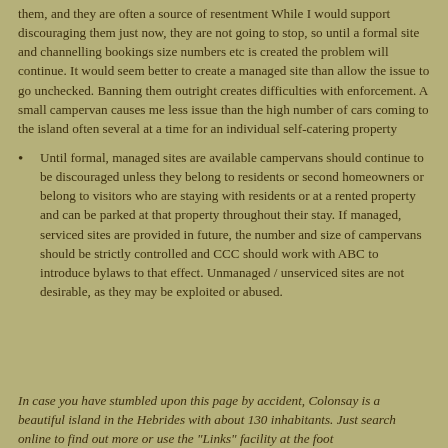them, and they are often a source of resentment While I would support discouraging them just now, they are not going to stop, so until a formal site and channelling bookings size numbers etc is created the problem will continue. It would seem better to create a managed site than allow the issue to go unchecked. Banning them outright creates difficulties with enforcement. A small campervan causes me less issue than the high number of cars coming to the island often several at a time for an individual self-catering property
Until formal, managed sites are available campervans should continue to be discouraged unless they belong to residents or second homeowners or belong to visitors who are staying with residents or at a rented property and can be parked at that property throughout their stay. If managed, serviced sites are provided in future, the number and size of campervans should be strictly controlled and CCC should work with ABC to introduce bylaws to that effect. Unmanaged / unserviced sites are not desirable, as they may be exploited or abused.
In case you have stumbled upon this page by accident, Colonsay is a beautiful island in the Hebrides with about 130 inhabitants. Just search online to find out more or use the "Links" facility at the foot